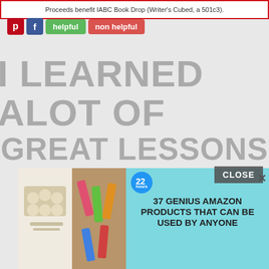Proceeds benefit IABC Book Drop (Writer's Cubed, a 501c3).
[Figure (screenshot): Social media sharing buttons: Pinterest (red), Facebook (blue), helpful (green), non helpful (red)]
I LEARNED ALOT OF GREAT LESSONS FROM A FEW FUCKED UP
[Figure (screenshot): Advertisement banner with two product images and text: 37 GENIUS AMAZON PRODUCTS THAT CAN BE USED BY ANYONE. Close button (X) in top right. Blue circular badge with number 22.]
CLOSE